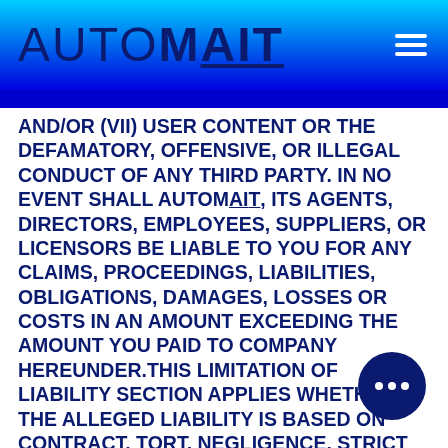AUTOMAIT
AND/OR (VII) USER CONTENT OR THE DEFAMATORY, OFFENSIVE, OR ILLEGAL CONDUCT OF ANY THIRD PARTY. IN NO EVENT SHALL AUTOMAIT, ITS AGENTS, DIRECTORS, EMPLOYEES, SUPPLIERS, OR LICENSORS BE LIABLE TO YOU FOR ANY CLAIMS, PROCEEDINGS, LIABILITIES, OBLIGATIONS, DAMAGES, LOSSES OR COSTS IN AN AMOUNT EXCEEDING THE AMOUNT YOU PAID TO COMPANY HEREUNDER.THIS LIMITATION OF LIABILITY SECTION APPLIES WHETHER THE ALLEGED LIABILITY IS BASED ON CONTRACT, TORT, NEGLIGENCE, STRICT LIABILITY, OR ANY OTHER BASIS, EVEN IF AUTOMAIT HAS BEEN ADVISED OF THE POSSIBILITY OF SUCH DAMAGE. THE FOREGOING LIMITATION OF LIABILITY SHALL APPLY TO THE FULLEST EXTENT PERMITTED BY LAW IN ANY APPLICABLE JURISDICTION.SOME STATES AND COUNTRIES DO NOT ALLOW THE EXCLUSION OF IMPLIED